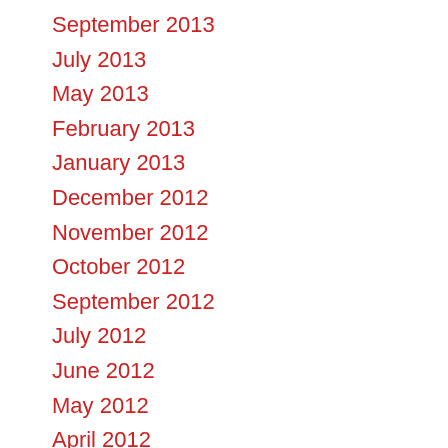September 2013
July 2013
May 2013
February 2013
January 2013
December 2012
November 2012
October 2012
September 2012
July 2012
June 2012
May 2012
April 2012
March 2012
February 2012
January 2012
December 2011
November 2011